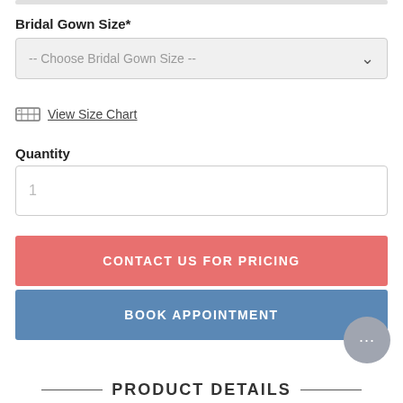Bridal Gown Size*
-- Choose Bridal Gown Size --
View Size Chart
Quantity
1
CONTACT US FOR PRICING
BOOK APPOINTMENT
PRODUCT DETAILS